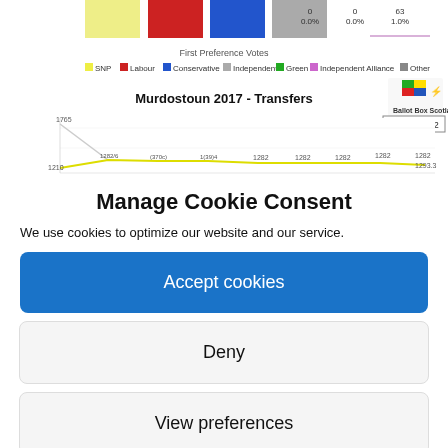[Figure (line-chart): Partial view of 'Murdostoun 2017 - Transfers' line chart from Ballot Box Scotland, showing transfer counts with Quota: 1282. Values visible include 1765, 1210, 1282 repeated, and 1293.3. Legend shows SNP, Labour, Conservative, Independent, Green, Independent Alliance, Other. Topped with colored bar chart showing First Preference Votes.]
Manage Cookie Consent
We use cookies to optimize our website and our service.
Accept cookies
Deny
View preferences